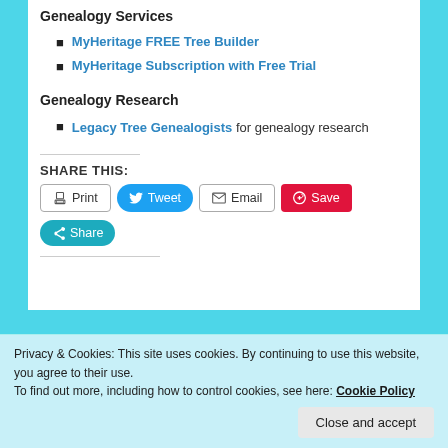Genealogy Services
MyHeritage FREE Tree Builder
MyHeritage Subscription with Free Trial
Genealogy Research
Legacy Tree Genealogists for genealogy research
SHARE THIS:
Print | Tweet | Email | Save | Share
Privacy & Cookies: This site uses cookies. By continuing to use this website, you agree to their use.
To find out more, including how to control cookies, see here: Cookie Policy
Close and accept